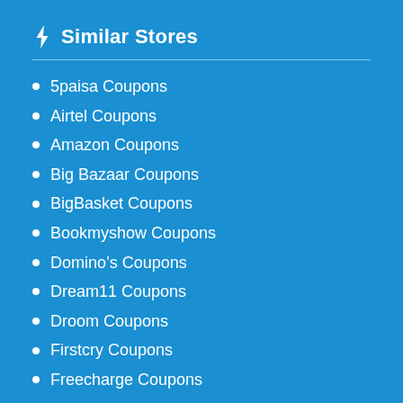Similar Stores
5paisa Coupons
Airtel Coupons
Amazon Coupons
Big Bazaar Coupons
BigBasket Coupons
Bookmyshow Coupons
Domino's Coupons
Dream11 Coupons
Droom Coupons
Firstcry Coupons
Freecharge Coupons
Goibibo Coupons
Mamaearth Coupons